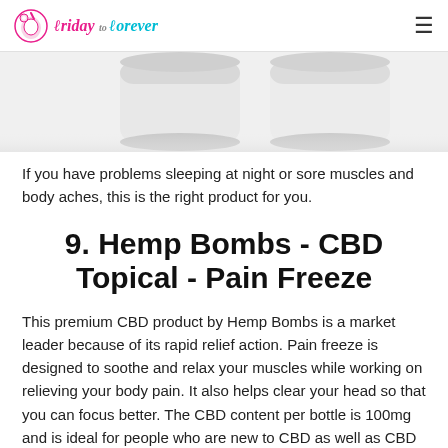Friday to Forever
[Figure (photo): Two white cylindrical CBD product containers/jars photographed from slightly above against a white background, partially cropped at top]
If you have problems sleeping at night or sore muscles and body aches, this is the right product for you.
9. Hemp Bombs - CBD Topical - Pain Freeze
This premium CBD product by Hemp Bombs is a market leader because of its rapid relief action. Pain freeze is designed to soothe and relax your muscles while working on relieving your body pain. It also helps clear your head so that you can focus better. The CBD content per bottle is 100mg and is ideal for people who are new to CBD as well as CBD